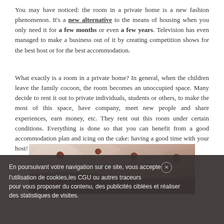You may have noticed: the room in a private home is a new fashion phenomenon. It's a new alternative to the means of housing when you only need it for a few months or even a few years. Television has even managed to make a business out of it by creating competition shows for the best host or for the best accommodation.
What exactly is a room in a private home? In general, when the children leave the family cocoon, the room becomes an unoccupied space. Many decide to rent it out to private individuals, students or others, to make the most of this space, have company, meet new people and share experiences, earn money, etc. They rent out this room under certain conditions. Everything is done so that you can benefit from a good accommodation plan and icing on the cake: having a good time with your host!
[Figure (photo): Photo showing people or objects on a bed with light fabric, partially visible]
En poursuivant votre navigation sur ce site, vous acceptez l'utilisation de cookies,les CGU ou autres traceurs pour vous proposer du contenu, des publicités ciblées et réaliser des statistiques de visites.